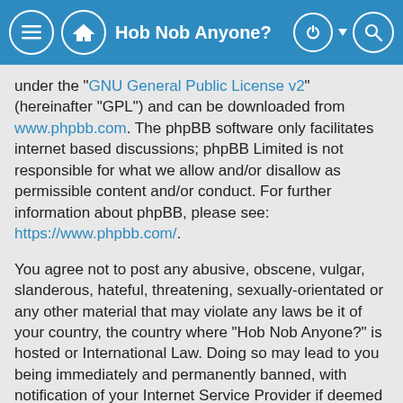Hob Nob Anyone?
under the “GNU General Public License v2” (hereinafter “GPL”) and can be downloaded from www.phpbb.com. The phpBB software only facilitates internet based discussions; phpBB Limited is not responsible for what we allow and/or disallow as permissible content and/or conduct. For further information about phpBB, please see: https://www.phpbb.com/.
You agree not to post any abusive, obscene, vulgar, slanderous, hateful, threatening, sexually-orientated or any other material that may violate any laws be it of your country, the country where “Hob Nob Anyone?” is hosted or International Law. Doing so may lead to you being immediately and permanently banned, with notification of your Internet Service Provider if deemed required by us. The IP address of all posts are recorded to aid in enforcing these conditions. You agree that “Hob Nob Anyone?” have the right to remove, edit, move or close any topic at any time should we see fit. As a user you agree to any information you have entered to being stored in a database. While this information will not be disclosed to any third party without your